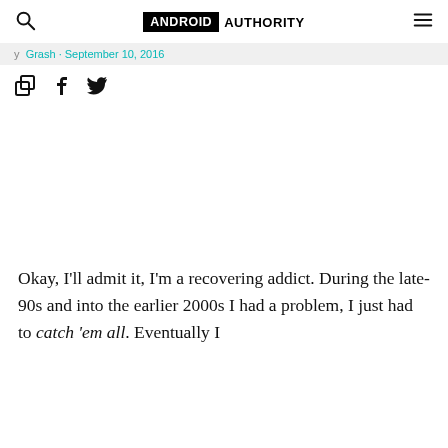ANDROID AUTHORITY
Grash · September 10, 2016
[Figure (infographic): Social share icons: copy link, Facebook, Twitter]
Okay, I'll admit it, I'm a recovering addict. During the late-90s and into the earlier 2000s I had a problem, I just had to catch 'em all. Eventually I